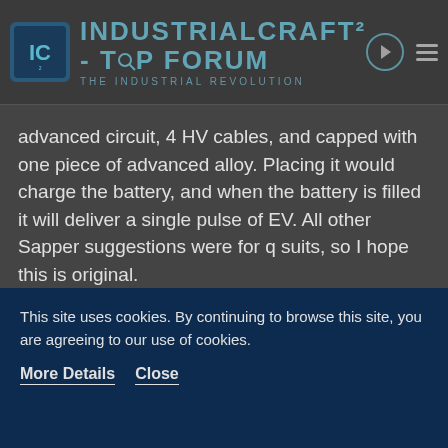IndustrialCraft² - Top Forum - The Industrial Revolution
advanced circuit, 4 HV cables, and capped with one piece of advanced alloy. Placing it would charge the battery, and when the battery is filled it will deliver a single pulse of EV. All other Sapper suggestions were for q suits, so I hope this is original.
CrafterOfMines57
Miner Of Diamond
Sep 4th 2012
Blu Spy Sappin' mah Macerator! So is this meant to be a
This site uses cookies. By continuing to browse this site, you are agreeing to our use of cookies.
More Details   Close